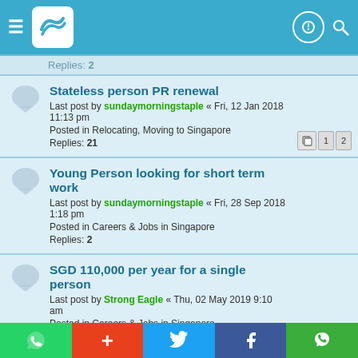Forum navigation header with logo and icons
Replies: 2
Stateless person PR renewal — Last post by sundaymorningstaple « Fri, 12 Jan 2018 11:13 pm — Posted in Relocating, Moving to Singapore — Replies: 21
Young Person looking for short term work — Last post by sundaymorningstaple « Fri, 28 Sep 2018 1:18 pm — Posted in Careers & Jobs in Singapore — Replies: 2
SGD 110,000 per year for a single person — Last post by Strong Eagle « Thu, 02 May 2019 9:10 am — Posted in Careers & Jobs in Singapore — Replies: 18
Jump to
WHO IS ONLINE